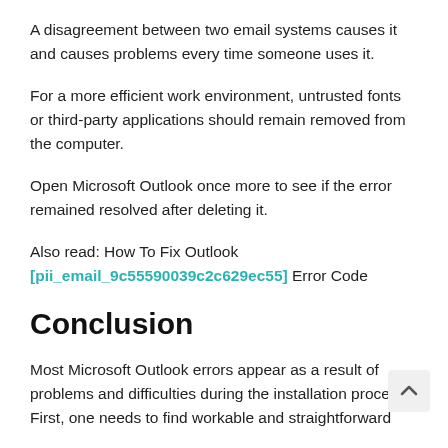A disagreement between two email systems causes it and causes problems every time someone uses it.
For a more efficient work environment, untrusted fonts or third-party applications should remain removed from the computer.
Open Microsoft Outlook once more to see if the error remained resolved after deleting it.
Also read: How To Fix Outlook [pii_email_9c55590039c2c629ec55] Error Code
Conclusion
Most Microsoft Outlook errors appear as a result of problems and difficulties during the installation process. First, one needs to find workable and straightforward